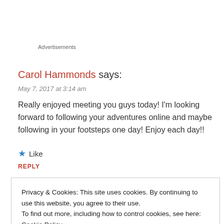Advertisements
Carol Hammonds says:
May 7, 2017 at 3:14 am
Really enjoyed meeting you guys today! I'm looking forward to following your adventures online and maybe following in your footsteps one day! Enjoy each day!!
★ Like
REPLY
Privacy & Cookies: This site uses cookies. By continuing to use this website, you agree to their use.
To find out more, including how to control cookies, see here: Cookie Policy
Close and accept